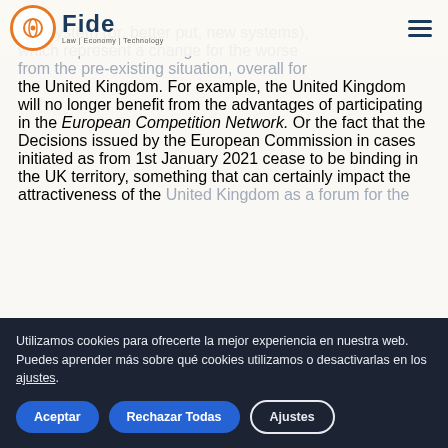FIDE — Law | Economy | Technology
key system (or, better put, new systems), which represent a change for the worse from the pre-existing situation, overall for the United Kingdom. For example, the United Kingdom will no longer benefit from the advantages of participating in the European Competition Network. Or the fact that the Decisions issued by the European Commission in cases initiated as from 1st January 2021 cease to be binding in the UK territory, something that can certainly impact the attractiveness of the United Kingdom as a forum for the...
Utilizamos cookies para ofrecerte la mejor experiencia en nuestra web.
Puedes aprender más sobre qué cookies utilizamos o desactivarlas en los ajustes.
Aceptar | Rechazar Todas | Ajustes